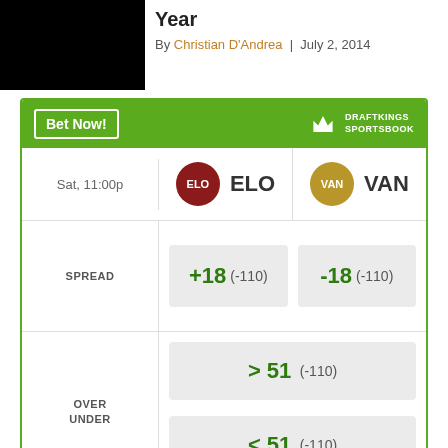Year
By Christian D'Andrea | July 2, 2014
[Figure (infographic): DraftKings Sportsbook betting widget showing ELO vs VAN matchup on Sat, 11:00p. Spread: ELO +18 (-110), VAN -18 (-110). Over/Under: >51 (-110), <51 (-110).]
Odds/Lines subject to change. See draftkings.com for details.
[Figure (photo): Advertisement bar — AD label, Presented By Johnson & Johnson]